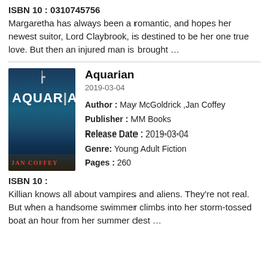ISBN 10 : 0310745756
Margaretha has always been a romantic, and hopes her newest suitor, Lord Claybrook, is destined to be her one true love. But then an injured man is brought ...
[Figure (illustration): Book cover of 'Aquarian' by Jan Coffey with a dark blue underwater-themed design and red author name at bottom]
Aquarian
2019-03-04
Author : May McGoldrick ,Jan Coffey
Publisher : MM Books
Release Date : 2019-03-04
Genre: Young Adult Fiction
Pages : 260
ISBN 10 :
Killian knows all about vampires and aliens. They're not real. But when a handsome swimmer climbs into her storm-tossed boat an hour from her summer dest ...